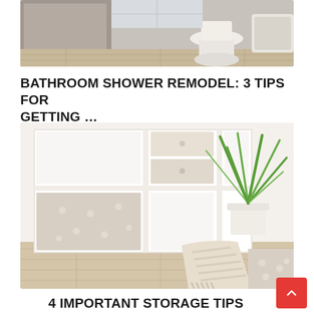[Figure (photo): Partial view of a bathroom showing a toilet and bathtub in the background with gray/wood cabinetry]
BATHROOM SHOWER REMODEL: 3 TIPS FOR GETTING ...
[Figure (photo): White modular shelving unit with beige fabric storage boxes and drawers, a potted palm plant, and a beige knitted blanket on the floor]
4 IMPORTANT STORAGE TIPS FOR HOMEOWNERS